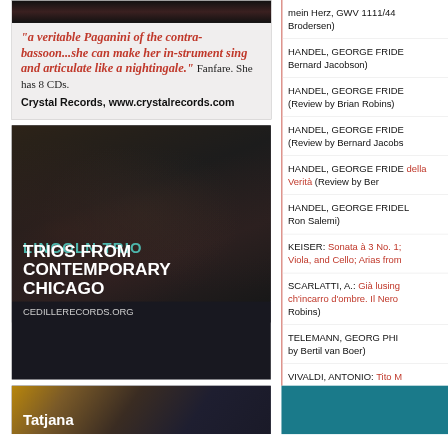[Figure (photo): Top advertisement with dark photo and Crystal Records ad featuring italic red quote about Paganini of the contrabassoon]
"a veritable Paganini of the contrabassoon...she can make her instrument sing and articulate like a nightingale." Fanfare. She has 8 CDs.
Crystal Records, www.crystalrecords.com
[Figure (photo): Lincoln Trio advertisement showing three musicians in dark clothing against dark background]
LINCOLN TRIO
TRIOS FROM CONTEMPORARY CHICAGO
CEDILLERECORDS.ORG
[Figure (photo): Tatjana advertisement, partial image showing person with text Tatjana]
Tatjana
mein Herz, GWV 1111/44 (Review by Brodersen)
HANDEL, GEORGE FRIDERIC (Review by Bernard Jacobson)
HANDEL, GEORGE FRIDERIC (Review by Brian Robins)
HANDEL, GEORGE FRIDERIC (Review by Bernard Jacobson)
HANDEL, GEORGE FRIDERIC della Verità (Review by Bernard)
HANDEL, GEORGE FRIDEL (Review by Ron Salemi)
KEISER: Sonata à 3 No. 1; Viola, and Cello; Arias from
SCARLATTI, A.: Già lusing ch'incarro d'ombre. Il Nerone (Review by Robins)
TELEMANN, GEORG PHIL (Review by Bertil van Boer)
VIVALDI, ANTONIO: Tito M (Review by Brian Robins)